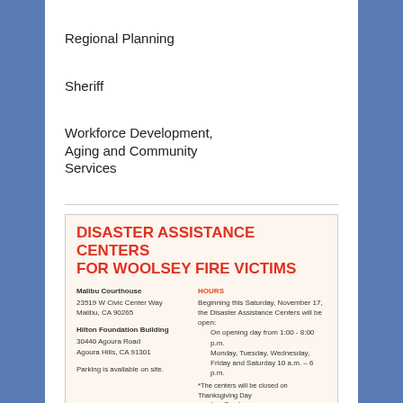Regional Planning
Sheriff
Workforce Development, Aging and Community Services
[Figure (infographic): Disaster Assistance Centers for Woolsey Fire Victims flyer. Locations: Malibu Courthouse, 23519 W Civic Center Way, Malibu, CA 90265; Hilton Foundation Building, 30440 Agoura Road, Agoura Hills, CA 91301. Parking is available on site. Hours: Beginning this Saturday, November 17, the Disaster Assistance Centers will be open: On opening day from 1:00 - 8:00 p.m., Monday, Tuesday, Wednesday, Friday and Saturday 10 a.m. - 6 p.m. *The centers will be closed on Thanksgiving Day and on Sundays. Visit lacounty.gov/Woolseyfire for more information. Ready Los Angeles County logo.]
This entry was posted in Follow The Facts, News, Woolsey Fire by lvhf. Bookmark the permalink.